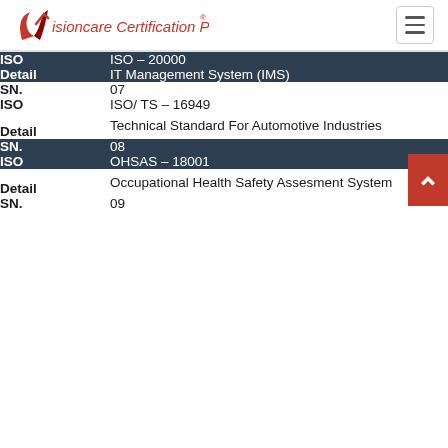Visioncare Certification Pvt. Ltd
| Field | Value |
| --- | --- |
| ISO | ISO – 20000 |
| Detail | IT Management System (IMS) |
| SN. | 07 |
| ISO | ISO/ TS – 16949 |
| Detail | Technical Standard For Automotive Industries |
| SN. | 08 |
| ISO | OHSAS – 18001 |
| Detail | Occupational Health Safety Assesment System |
| SN. | 09 |